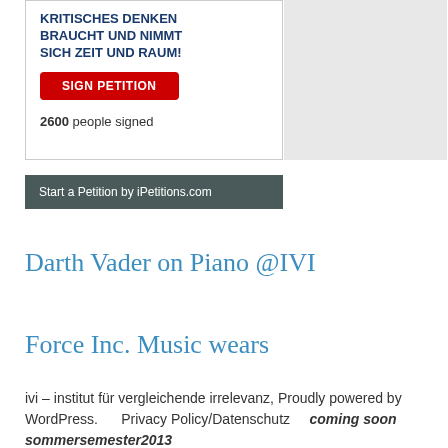[Figure (screenshot): iPetitions.com petition widget with German text 'KRITISCHES DENKEN BRAUCHT UND NIMMT SICH ZEIT UND RAUM!', a red 'SIGN PETITION' button, '2600 people signed', and a dark 'Start a Petition by iPetitions.com' bar below.]
Darth Vader on Piano @IVI
Force Inc. Music wears
ivi – institut für vergleichende irrelevanz, Proudly powered by WordPress.      Privacy Policy/Datenschutz      coming soon sommersemester2013